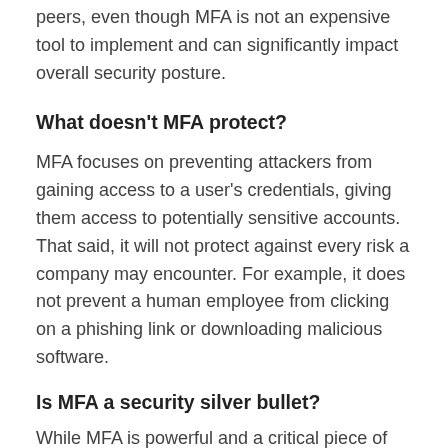peers, even though MFA is not an expensive tool to implement and can significantly impact overall security posture.
What doesn't MFA protect?
MFA focuses on preventing attackers from gaining access to a user's credentials, giving them access to potentially sensitive accounts. That said, it will not protect against every risk a company may encounter. For example, it does not prevent a human employee from clicking on a phishing link or downloading malicious software.
Is MFA a security silver bullet?
While MFA is powerful and a critical piece of